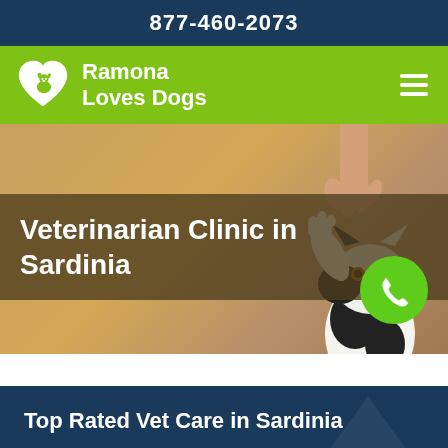877-460-2073
Ramona Loves Dogs
[Figure (screenshot): Hero image of a cat reaching up with paw toward a human hand, on a warm golden/tan background. Semi-transparent dark brown overlay box with white bold text reading 'Veterinarian Clinic in Sardinia'. Green phone icon circle button in lower right of hero.]
Top Rated Vet Care in Sardinia
Ramona Dog Veterinarian Sardinia is one of the